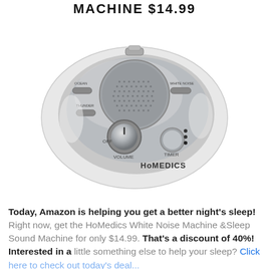MACHINE $14.99
[Figure (photo): HoMedics White Noise Machine / Sleep Sound Machine product photo — oval-shaped white and silver device with speaker grille, volume knob, timer button, and mode selector, with HoMedics brand name visible]
Today, Amazon is helping you get a better night's sleep! Right now, get the HoMedics White Noise Machine &Sleep Sound Machine for only $14.99. That's a discount of 40%! Interested in a little something else to help your sleep? Click here to check out today's deal...